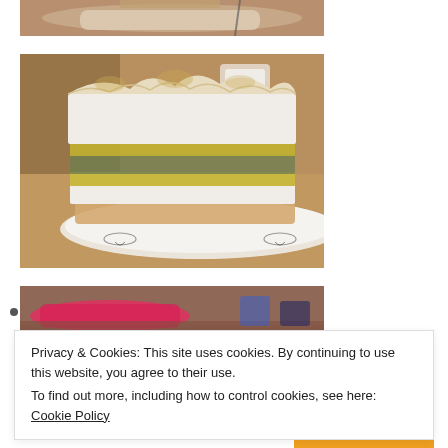[Figure (photo): Partial view of a dessert/cake on a white plate, cropped at top]
[Figure (photo): Slice of layered meringue cake with cream and lemon curd filling on a decorated white plate, cafe setting]
[Figure (photo): Partial view of a pink/red item on a table, partially visible at bottom]
Privacy & Cookies: This site uses cookies. By continuing to use this website, you agree to their use.
To find out more, including how to control cookies, see here: Cookie Policy
Close and accept
Translate »